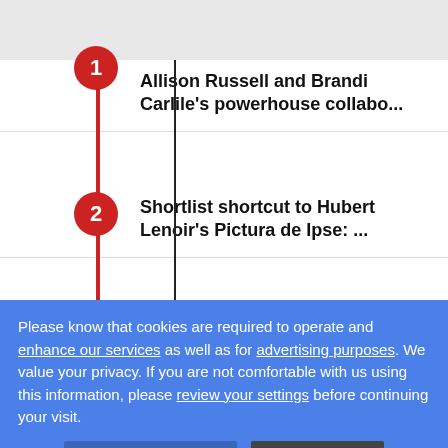Allison Russell and Brandi Carlile's powerhouse collabo...
2 Shortlist shortcut to Hubert Lenoir's Pictura de Ipse: ...
3 Johnny Orlando: 5 songs that changed my life
4 The Acadian music explosion
5 Shabason and Knoyle's charming anthem, and 6 more...
Please know that cookies are required to operate and enhance our services as well as for advertising purposes. We value your privacy. If you are not comfortable with us using this information, please review your settings before continuing your visit.
Speaking after the cabinet was sworn in, King grew emotional in thanking the lieutenant-governor for